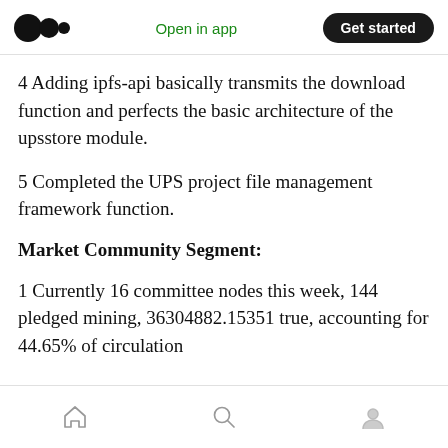Medium logo | Open in app | Get started
4 Adding ipfs-api basically transmits the download function and perfects the basic architecture of the upsstore module.
5 Completed the UPS project file management framework function.
Market Community Segment:
1 Currently 16 committee nodes this week, 144 pledged mining, 36304882.15351 true, accounting for 44.65% of circulation
Home | Search | Profile